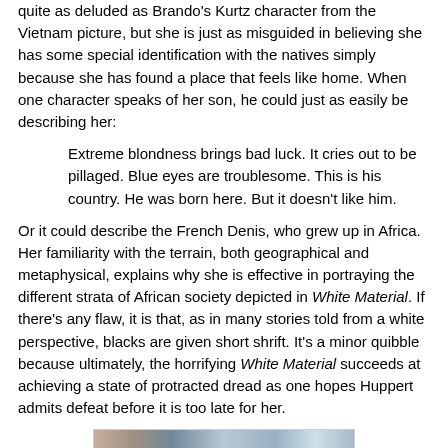quite as deluded as Brando's Kurtz character from the Vietnam picture, but she is just as misguided in believing she has some special identification with the natives simply because she has found a place that feels like home. When one character speaks of her son, he could just as easily be describing her:
Extreme blondness brings bad luck. It cries out to be pillaged. Blue eyes are troublesome. This is his country. He was born here. But it doesn't like him.
Or it could describe the French Denis, who grew up in Africa. Her familiarity with the terrain, both geographical and metaphysical, explains why she is effective in portraying the different strata of African society depicted in White Material. If there's any flaw, it is that, as in many stories told from a white perspective, blacks are given short shrift. It's a minor quibble because ultimately, the horrifying White Material succeeds at achieving a state of protracted dread as one hopes Huppert admits defeat before it is too late for her.
[Figure (photo): Partial image strip showing what appears to be a still or scene from a film, cropped at the bottom of the page.]